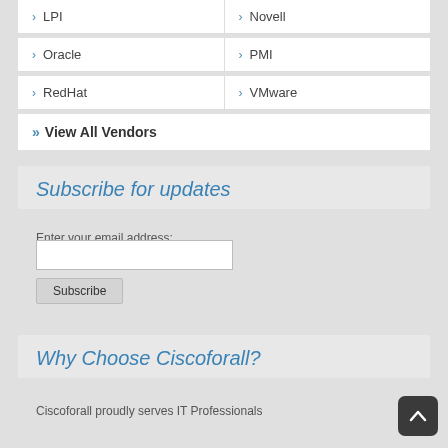> LPI
> Novell
> Oracle
> PMI
> RedHat
> VMware
>> View All Vendors
Subscribe for updates
Enter your email address:
Subscribe
Why Choose Ciscoforall?
Ciscoforall proudly serves IT Professionals